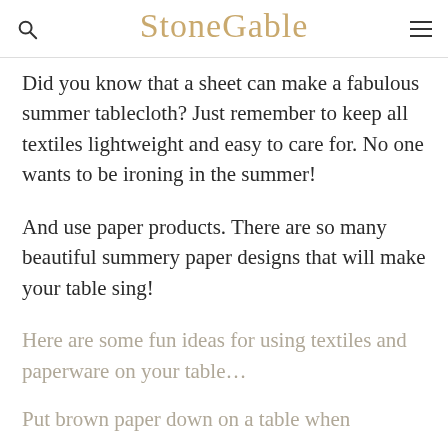StoneGable
Did you know that a sheet can make a fabulous summer tablecloth? Just remember to keep all textiles lightweight and easy to care for. No one wants to be ironing in the summer!
And use paper products. There are so many beautiful summery paper designs that will make your table sing!
Here are some fun ideas for using textiles and paperware on your table…
Put brown paper down on a table when